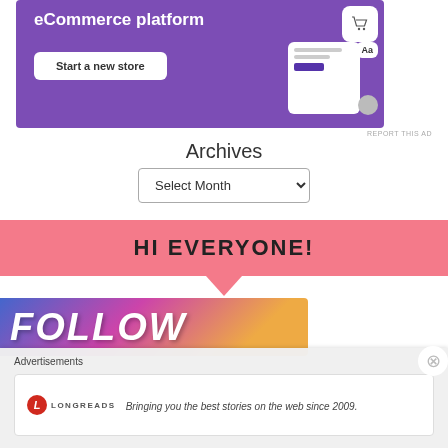[Figure (screenshot): Purple eCommerce platform advertisement banner with shopping cart icon, document mockup, and 'Start a new store' button]
REPORT THIS AD
Archives
[Figure (screenshot): Select Month dropdown widget]
[Figure (infographic): Pink banner with text 'HI EVERYONE!' and pink arrow pointing down]
[Figure (screenshot): FOLLOW image banner with gradient colors blue, purple, yellow]
Advertisements
[Figure (screenshot): Longreads advertisement card: Bringing you the best stories on the web since 2009.]